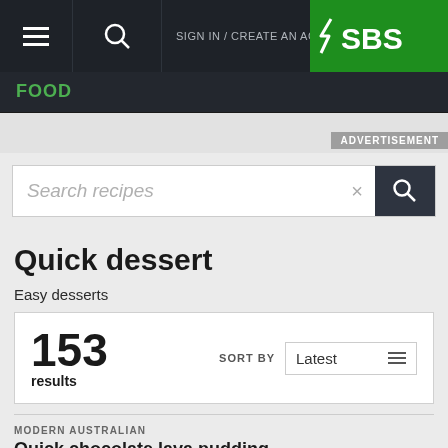[Figure (screenshot): SBS Food website screenshot showing navigation bar with hamburger menu, search icon, SIGN IN / CREATE AN ACCOUNT link, and green SBS logo]
FOOD
ADVERTISEMENT
Search recipes
Quick dessert
Easy desserts
153 results
SORT BY Latest
MODERN AUSTRALIAN
Quick chocolate lava pudding